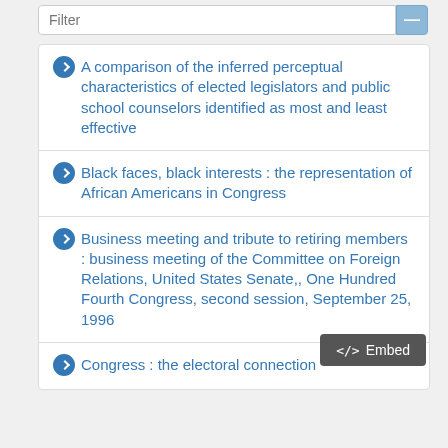Filter
A comparison of the inferred perceptual characteristics of elected legislators and public school counselors identified as most and least effective
Black faces, black interests : the representation of African Americans in Congress
Business meeting and tribute to retiring members : business meeting of the Committee on Foreign Relations, United States Senate,, One Hundred Fourth Congress, second session, September 25, 1996
Congress : the electoral connection
Embed